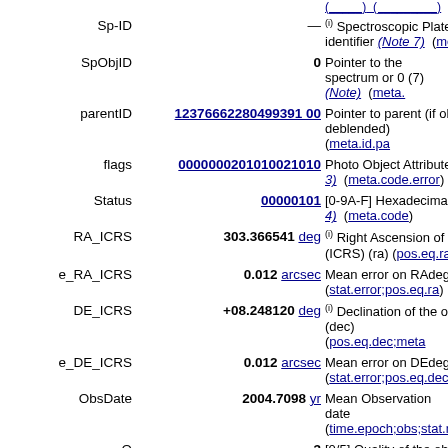| Name | Value | Description |
| --- | --- | --- |
| Sp-ID | — | (i) Spectroscopic Plate-identifier (Note 7) (me... |
| SpObjID | 0 | Pointer to the spectrum or 0 (7) (Note) (meta.... |
| parentID | 12376662280499391 00 | Pointer to parent (if ob deblended) (meta.id.pa... |
| flags | 0000000201010021010 | Photo Object Attribute 3) (meta.code.error) |
| Status | 00000101 | [0-9A-F] Hexadecimal 4) (meta.code) |
| RA_ICRS | 303.366541 deg | (i) Right Ascension of t (ICRS) (ra) (pos.eq.ra;... |
| e_RA_ICRS | 0.012 arcsec | Mean error on RAdeg (stat.error;pos.eq.ra) |
| DE_ICRS | +08.248120 deg | (i) Declination of the ob (dec) (pos.eq.dec;meta... |
| e_DE_ICRS | 0.012 arcsec | Mean error on DEdeg ( (stat.error;pos.eq.dec) |
| ObsDate | 2004.7098 yr | Mean Observation date (time.epoch;obs;stat.m... |
| Q | 3 | [0/5] Quality of the obs (0=unknown); 1=bad 2... |